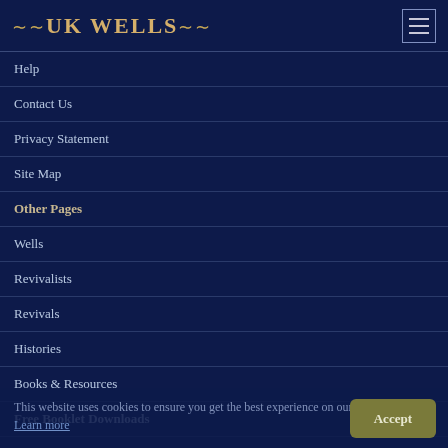UK WELLS
Help
Contact Us
Privacy Statement
Site Map
Other Pages
Wells
Revivalists
Revivals
Histories
Books & Resources
Free Booklet Downloads
Film Series
Preaching
This website uses cookies to ensure you get the best experience on our website. Learn more